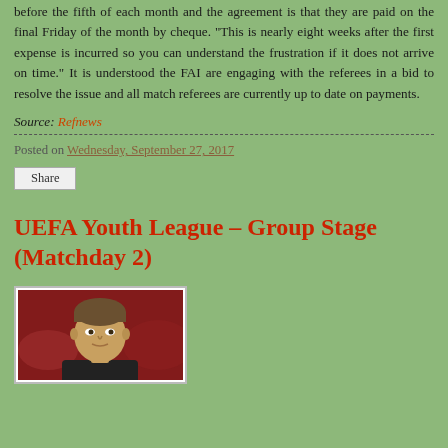before the fifth of each month and the agreement is that they are paid on the final Friday of the month by cheque. "This is nearly eight weeks after the first expense is incurred so you can understand the frustration if it does not arrive on time." It is understood the FAI are engaging with the referees in a bid to resolve the issue and all match referees are currently up to date on payments.
Source: Refnews
Posted on Wednesday, September 27, 2017
Share
UEFA Youth League – Group Stage (Matchday 2)
[Figure (photo): Photo of a man, likely a referee, against a reddish background]